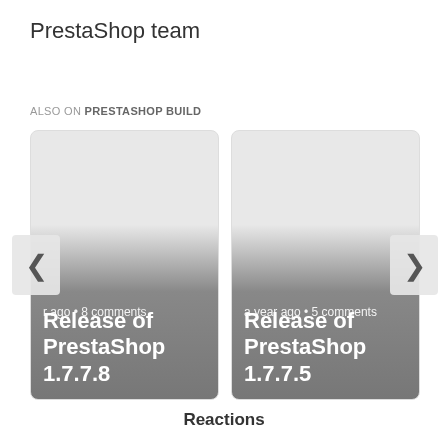PrestaShop team
ALSO ON PRESTASHOP BUILD
[Figure (screenshot): Two article cards for PrestaShop releases. Left card: 'a year ago • 8 comments' with title 'Release of PrestaShop 1.7.7.8'. Right card: 'a year ago • 5 comments' with title 'Release of PrestaShop 1.7.7.5'. Navigation arrows on left and right sides.]
Reactions